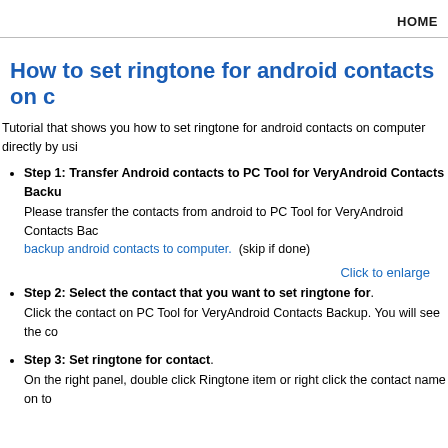HOME
How to set ringtone for android contacts on c
Tutorial that shows you how to set ringtone for android contacts on computer directly by usi
Step 1: Transfer Android contacts to PC Tool for VeryAndroid Contacts Backu. Please transfer the contacts from android to PC Tool for VeryAndroid Contacts Bac backup android contacts to computer. (skip if done)
Click to enlarge
Step 2: Select the contact that you want to set ringtone for. Click the contact on PC Tool for VeryAndroid Contacts Backup. You will see the co
Step 3: Set ringtone for contact. On the right panel, double click Ringtone item or right click the contact name on to